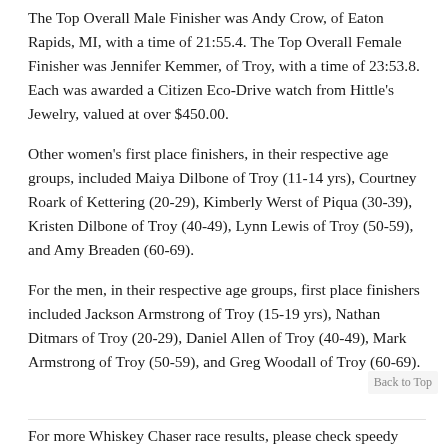The Top Overall Male Finisher was Andy Crow, of Eaton Rapids, MI, with a time of 21:55.4. The Top Overall Female Finisher was Jennifer Kemmer, of Troy, with a time of 23:53.8. Each was awarded a Citizen Eco-Drive watch from Hittle's Jewelry, valued at over $450.00.
Other women's first place finishers, in their respective age groups, included Maiya Dilbone of Troy (11-14 yrs), Courtney Roark of Kettering (20-29), Kimberly Werst of Piqua (30-39), Kristen Dilbone of Troy (40-49), Lynn Lewis of Troy (50-59), and Amy Breaden (60-69).
For the men, in their respective age groups, first place finishers included Jackson Armstrong of Troy (15-19 yrs), Nathan Ditmars of Troy (20-29), Daniel Allen of Troy (40-49), Mark Armstrong of Troy (50-59), and Greg Woodall of Troy (60-69).
For more Whiskey Chaser race results, please check speedy